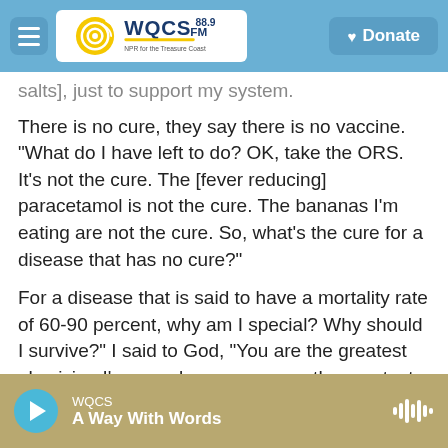WQCS 88.9 FM — NPR for the Treasure Coast | Donate
salts], just to support my system.
There is no cure, they say there is no vaccine. "What do I have left to do? OK, take the ORS. It's not the cure. The [fever reducing] paracetamol is not the cure. The bananas I'm eating are not the cure. So, what's the cure for a disease that has no cure?"
For a disease that is said to have a mortality rate of 60-90 percent, why am I special? Why should I survive?" I said to God, "You are the greatest physician I've ever known, you are the greatest healer, heal me O Lord and I will be healed."
WQCS | A Way With Words